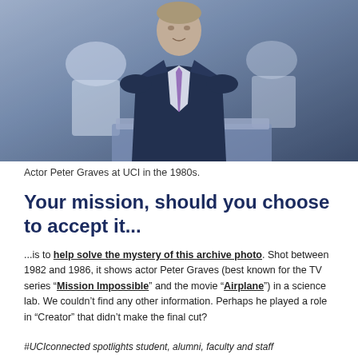[Figure (photo): Actor Peter Graves at UCI in the 1980s, standing in a science lab wearing a dark navy suit and tie, with other people in white lab coats in the background.]
Actor Peter Graves at UCI in the 1980s.
Your mission, should you choose to accept it...
...is to help solve the mystery of this archive photo. Shot between 1982 and 1986, it shows actor Peter Graves (best known for the TV series “Mission Impossible” and the movie “Airplane”) in a science lab. We couldn’t find any other information. Perhaps he played a role in “Creator” that didn’t make the final cut?
#UCIconnected spotlights student, alumni, faculty and staff